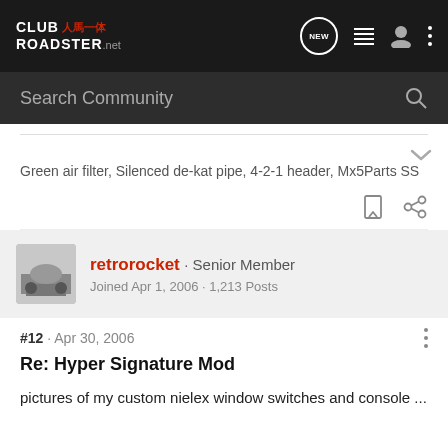CLUB ROADSTER.net — navigation bar with NEW, list, user, and menu icons
Search Community
Green air filter, Silenced de-kat pipe, 4-2-1 header, Mx5Parts SS
retrorocket · Senior Member
Joined Apr 1, 2006 · 1,213 Posts
#12 · Apr 30, 2006
Re: Hyper Signature Mod
pictures of my custom nielex window switches and console ...